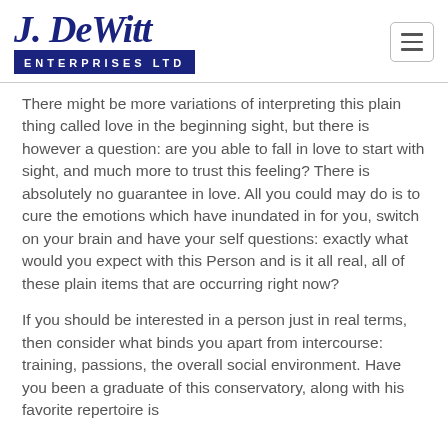J. DeWitt Enterprises Ltd
There might be more variations of interpreting this plain thing called love in the beginning sight, but there is however a question: are you able to fall in love to start with sight, and much more to trust this feeling? There is absolutely no guarantee in love. All you could may do is to cure the emotions which have inundated in for you, switch on your brain and have your self questions: exactly what would you expect with this Person and is it all real, all of these plain items that are occurring right now?
If you should be interested in a person just in real terms, then consider what binds you apart from intercourse: training, passions, the overall social environment. Have you been a graduate of this conservatory, along with his favorite repertoire is